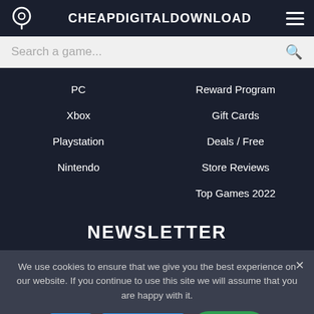CHEAPDIGITALDOWNLOAD
Search a game...
PC
Reward Program
Xbox
Gift Cards
Playstation
Deals / Free
Store Reviews
Nintendo
Top Games 2022
NEWSLETTER
We use cookies to ensure that we give you the best experience on our website. If you continue to use this site we will assume that you are happy with it.
Ok
Read more
Help